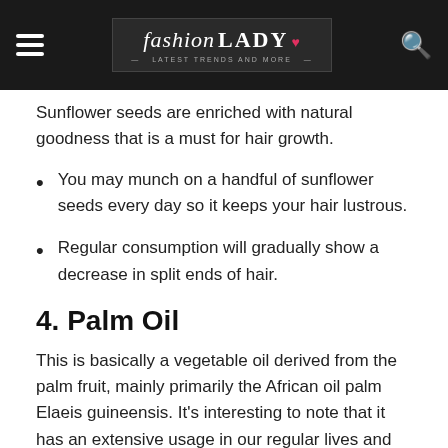fashion LADY — Latest Trends and More
Sunflower seeds are enriched with natural goodness that is a must for hair growth.
You may munch on a handful of sunflower seeds every day so it keeps your hair lustrous.
Regular consumption will gradually show a decrease in split ends of hair.
4. Palm Oil
This is basically a vegetable oil derived from the palm fruit, mainly primarily the African oil palm Elaeis guineensis. It's interesting to note that it has an extensive usage in our regular lives and we find it almost in everything. Not only can